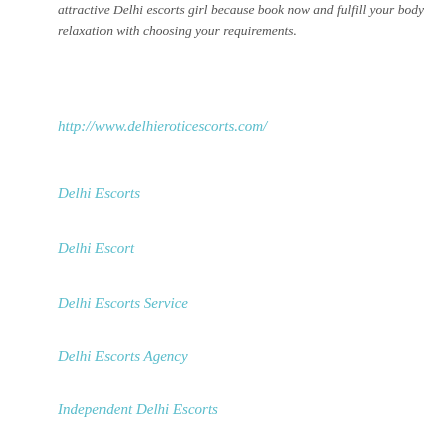attractive Delhi escorts girl because book now and fulfill your body relaxation with choosing your requirements.
http://www.delhieroticescorts.com/
Delhi Escorts
Delhi Escort
Delhi Escorts Service
Delhi Escorts Agency
Independent Delhi Escorts
Delhi Escorts Girl
Delhi Female Escorts
Escorts in Delhi
Escorts Service in Delhi